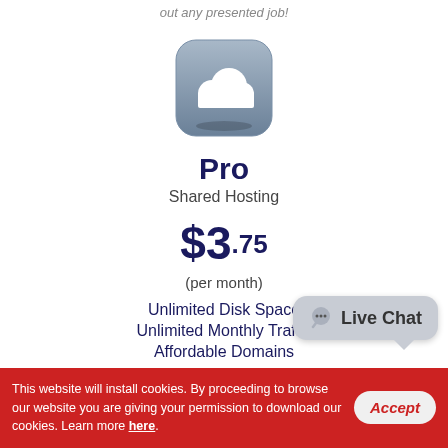out any presented job!
[Figure (illustration): Cloud icon on a rounded square button with a blue-gray gradient background, white cloud symbol in center]
Pro
Shared Hosting
$3.75
(per month)
Unlimited Disk Space
Unlimited Monthly Traffic
Affordable Domains
[Figure (other): Live Chat speech bubble button]
This website will install cookies. By proceeding to browse our website you are giving your permission to download our cookies. Learn more here.